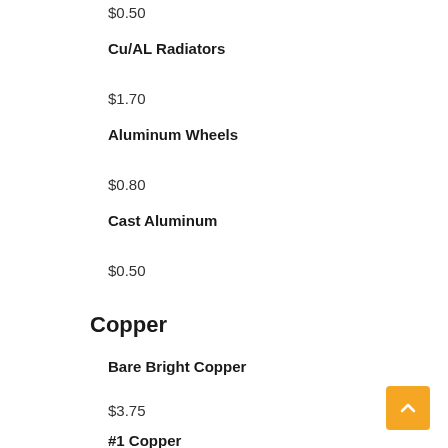$0.50
Cu/AL Radiators
$1.70
Aluminum Wheels
$0.80
Cast Aluminum
$0.50
Copper
Bare Bright Copper
$3.75
#1 Copper